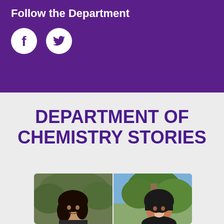Follow the Department
[Figure (illustration): Facebook and Twitter social media icons in white circles on purple background]
DEPARTMENT OF CHEMISTRY STORIES
[Figure (photo): Two female students smiling, one with curly dark hair in front of green hedge, one wearing black hijab in front of trees]